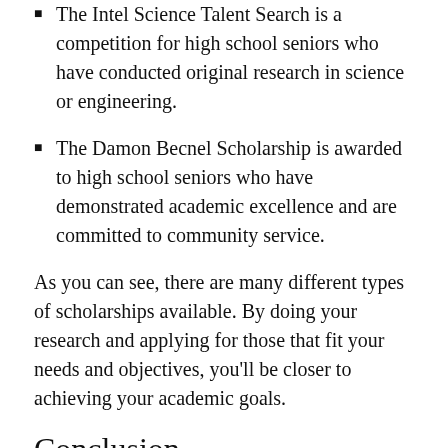The Intel Science Talent Search is a competition for high school seniors who have conducted original research in science or engineering.
The Damon Becnel Scholarship is awarded to high school seniors who have demonstrated academic excellence and are committed to community service.
As you can see, there are many different types of scholarships available. By doing your research and applying for those that fit your needs and objectives, you'll be closer to achieving your academic goals.
Conclusion
In conclusion, scholarships are a great way to help students achieve their goals and get ahead. They provide many benefits that can be extremely helpful for students, including reducing the cost of